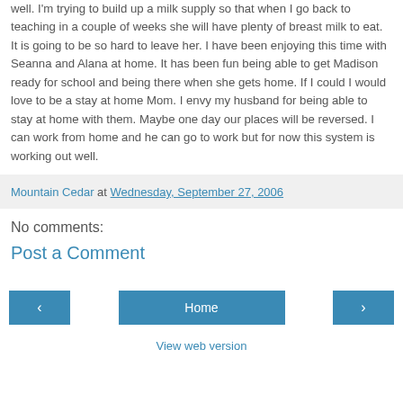well. I'm trying to build up a milk supply so that when I go back to teaching in a couple of weeks she will have plenty of breast milk to eat. It is going to be so hard to leave her. I have been enjoying this time with Seanna and Alana at home. It has been fun being able to get Madison ready for school and being there when she gets home. If I could I would love to be a stay at home Mom. I envy my husband for being able to stay at home with them. Maybe one day our places will be reversed. I can work from home and he can go to work but for now this system is working out well.
Mountain Cedar at Wednesday, September 27, 2006
No comments:
Post a Comment
< | Home | > | View web version